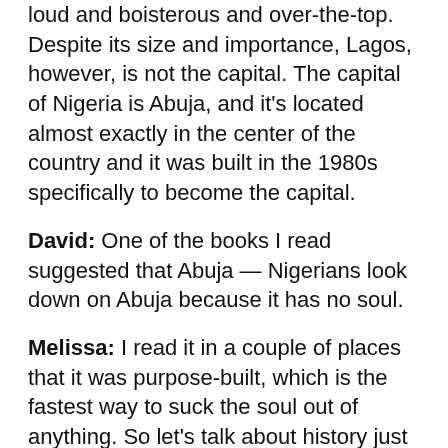loud and boisterous and over-the-top. Despite its size and importance, Lagos, however, is not the capital. The capital of Nigeria is Abuja, and it's located almost exactly in the center of the country and it was built in the 1980s specifically to become the capital.
David: One of the books I read suggested that Abuja — Nigerians look down on Abuja because it has no soul.
Melissa: I read it in a couple of places that it was purpose-built, which is the fastest way to suck the soul out of anything. So let's talk about history just a little bit so we have a little bit of background. In the 1600s... This is bad. I should preface this by saying it's bad. In the 1600s, an estimated 14.6 percent of all slaves were taken from an area that's now part of Nigeria. That is three and a half million people.